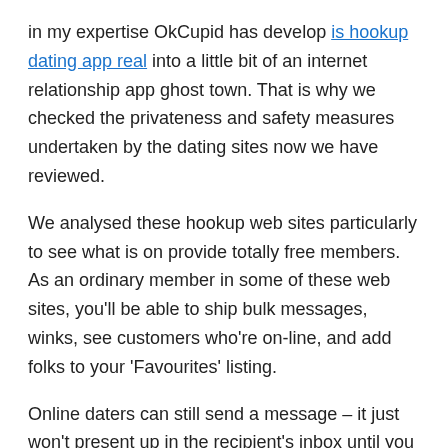in my expertise OkCupid has develop is hookup dating app real into a little bit of an internet relationship app ghost town. That is why we checked the privateness and safety measures undertaken by the dating sites now we have reviewed.
We analysed these hookup web sites particularly to see what is on provide totally free members. As an ordinary member in some of these web sites, you'll be able to ship bulk messages, winks, see customers who're on-line, and add folks to your 'Favourites' listing.
Online daters can still send a message – it just won't present up in the recipient's inbox until you match. Clover tried to be the on-demand model of on-line dating websites, letting you order a date much like you'll a pizza. General, most of those websites have interesting features.
Nonetheless, OkCupid has identified that these modifications did